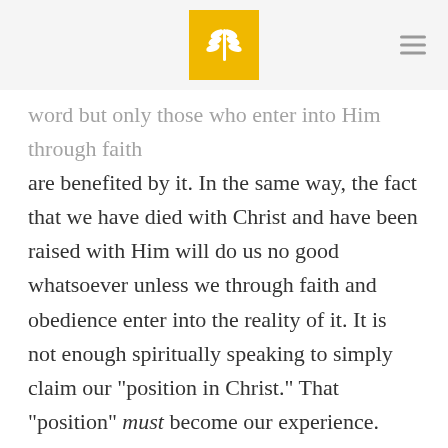[Logo: wheat/grain icon] [Hamburger menu icon]
word but only those who enter into Him through faith are benefited by it. In the same way, the fact that we have died with Christ and have been raised with Him will do us no good whatsoever unless we through faith and obedience enter into the reality of it. It is not enough spiritually speaking to simply claim our “position in Christ.” That “position” must become our experience.
This truth can be compared to the experience of the Children of Israel. They could have stayed on the east side of the Jordan river instead of crossing over into the good land. There they might have spent their time